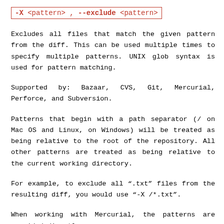-X <pattern> , --exclude <pattern>
Excludes all files that match the given pattern from the diff. This can be used multiple times to specify multiple patterns. UNIX glob syntax is used for pattern matching.
Supported by: Bazaar, CVS, Git, Mercurial, Perforce, and Subversion.
Patterns that begin with a path separator (/ on Mac OS and Linux, on Windows) will be treated as being relative to the root of the repository. All other patterns are treated as being relative to the current working directory.
For example, to exclude all ".txt" files from the resulting diff, you would use "-X /*.txt".
When working with Mercurial, the patterns are provided directly